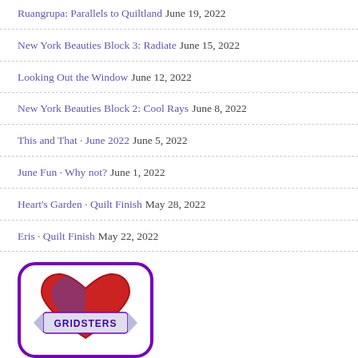Ruangrupa: Parallels to Quiltland June 19, 2022
New York Beauties Block 3: Radiate June 15, 2022
Looking Out the Window June 12, 2022
New York Beauties Block 2: Cool Rays June 8, 2022
This and That · June 2022 June 5, 2022
June Fun · Why not? June 1, 2022
Heart's Garden · Quilt Finish May 28, 2022
Eris · Quilt Finish May 22, 2022
[Figure (logo): Gridsters logo: a heart with a banner reading GRIDSTERS, red and blue/purple colors, inside a rounded purple border]